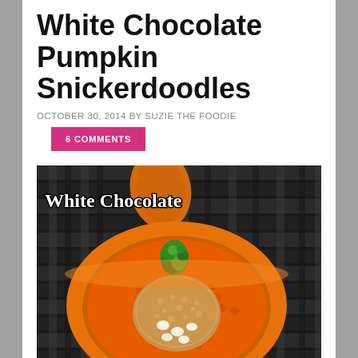White Chocolate Pumpkin Snickerdoodles
OCTOBER 30, 2014 BY SUZIE THE FOODIE
6 COMMENTS
[Figure (photo): A white chocolate pumpkin snickerdoodle cookie placed inside an orange pumpkin-shaped crochet bowl filled with orange yarn, set against a dark woven basket background. Text overlay reads 'White Chocolate' in white decorative font.]